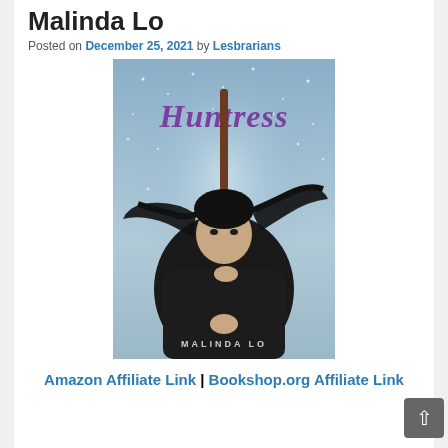Malinda Lo
Posted on December 25, 2021 by Lesbrarians
[Figure (photo): Book cover of 'Huntress' by Malinda Lo. A young woman with long dark hair blowing in the wind holds a long wooden staff vertically in front of her face, wearing a dark coat. The background is a stormy, snowy sky. The title 'Huntress' is written in purple script at the top and 'MALINDA LO' is printed at the bottom.]
Amazon Affiliate Link | Bookshop.org Affiliate Link